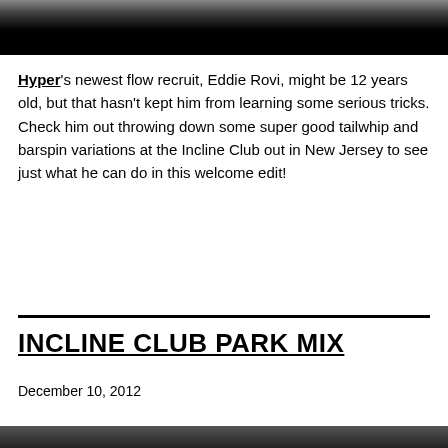[Figure (photo): Top portion of a photo, mostly black background with partial image visible at top edge]
Hyper's newest flow recruit, Eddie Rovi, might be 12 years old, but that hasn't kept him from learning some serious tricks. Check him out throwing down some super good tailwhip and barspin variations at the Incline Club out in New Jersey to see just what he can do in this welcome edit!
INCLINE CLUB PARK MIX
December 10, 2012
[Figure (photo): Bottom portion of page showing top edge of another photo]